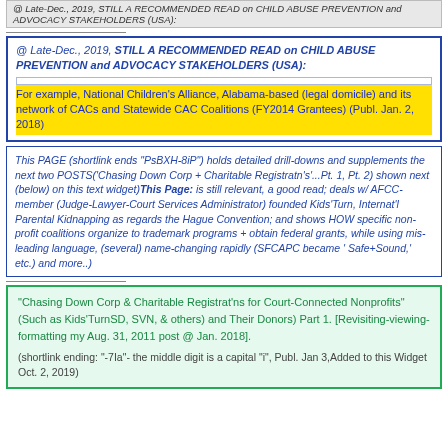@ Late-Dec., 2019, STILL A RECOMMENDED READ on CHILD ABUSE PREVENTION and ADVOCACY STAKEHOLDERS (USA):
For example, National Children's Alliance, Alabama-based (legal domicile) and its network of CACs and Statewide CAC Coalitions (FY2014 Grantees) (Publ. Jan. 2, 2018)
This PAGE (shortlink ends "PsBXH-8iP") holds detailed drill-downs and supplements the next two POSTS('Chasing Down Corp + Charitable Registratn's'...Pt. 1, Pt. 2) shown next (below) on this text widget) This Page: is still relevant, a good read; deals w/ AFCC-member (Judge-Lawyer-Court Services Administrator) founded Kids'Turn, Internat'l Parental Kidnapping as regards the Hague Convention; and shows HOW specific non-profit coalitions organize to trademark programs + obtain federal grants, while using mis-leading language, (several) name-changing rapidly (SFCAPC became ' Safe+Sound,' etc.) and more..)
"Chasing Down Corp & Charitable Registrat'ns for Court-Connected Nonprofits" (Such as Kids'TurnSD, SVN, & others) and Their Donors) Part 1. [Revisiting-viewing-formatting my Aug. 31, 2011 post @ Jan. 2018].
(shortlink ending: "-7Ia"- the middle digit is a capital "i", Publ. Jan 3,Added to this Widget Oct. 2, 2019)